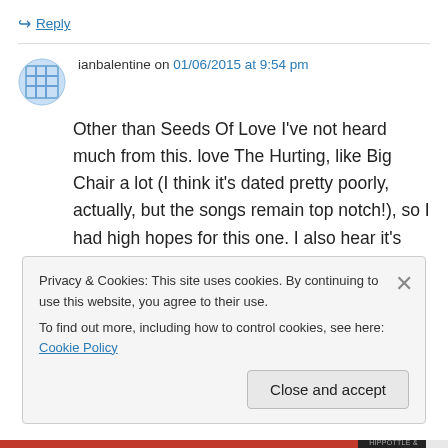↪ Reply
ianbalentine on 01/06/2015 at 9:54 pm
Other than Seeds Of Love I've not heard much from this. love The Hurting, like Big Chair a lot (I think it's dated pretty poorly, actually, but the songs remain top notch!), so I had high hopes for this one. I also hear it's rated VERY HIGHLY amongst fans, but I'll take your word and pass.
Privacy & Cookies: This site uses cookies. By continuing to use this website, you agree to their use.
To find out more, including how to control cookies, see here: Cookie Policy
Close and accept